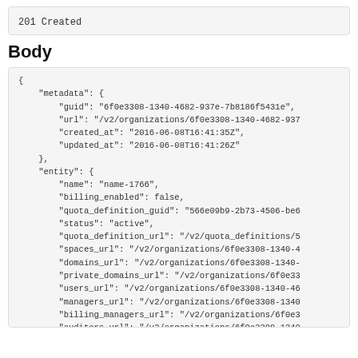201 Created
Body
{
    "metadata": {
        "guid": "6f0e3308-1340-4682-937e-7b8186f5431e",
        "url": "/v2/organizations/6f0e3308-1340-4682-937
        "created_at": "2016-06-08T16:41:35Z",
        "updated_at": "2016-06-08T16:41:26Z"
    },
    "entity": {
        "name": "name-1766",
        "billing_enabled": false,
        "quota_definition_guid": "566e09b9-2b73-4506-be6
        "status": "active",
        "quota_definition_url": "/v2/quota_definitions/5
        "spaces_url": "/v2/organizations/6f0e3308-1340-4
        "domains_url": "/v2/organizations/6f0e3308-1340-
        "private_domains_url": "/v2/organizations/6f0e33
        "users_url": "/v2/organizations/6f0e3308-1340-46
        "managers_url": "/v2/organizations/6f0e3308-1340
        "billing_managers_url": "/v2/organizations/6f0e3
        "auditors_url": "/v2/organizations/6f0e3308-1340